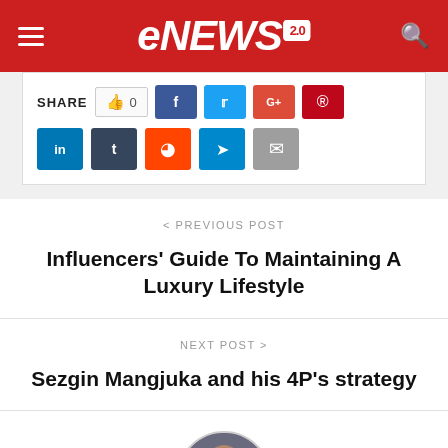eNEWS 2.0
[Figure (screenshot): Social share buttons row: like button with 0 count, Facebook, Twitter, Google+, Pinterest, LinkedIn, Tumblr, Reddit, Telegram, Email]
< PREVIOUS POST
Influencers' Guide To Maintaining A Luxury Lifestyle
NEXT POST >
Sezgin Mangjuka and his 4P's strategy
[Figure (photo): Circular profile photo of a person]